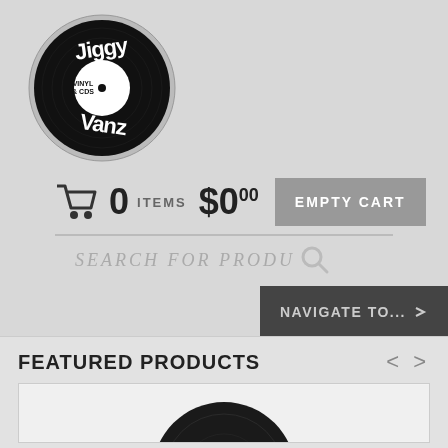[Figure (logo): Jiggy Vanz Vinyl & CDs circular logo — black vinyl record with white graffiti-style text reading 'Jiggy Vinyl & CDs Vanz']
0 ITEMS $0.00 EMPTY CART
SEARCH FOR PRODU
NAVIGATE TO...
FEATURED PRODUCTS
[Figure (photo): Partial image of a vinyl record, black with red label, at the bottom of the page]